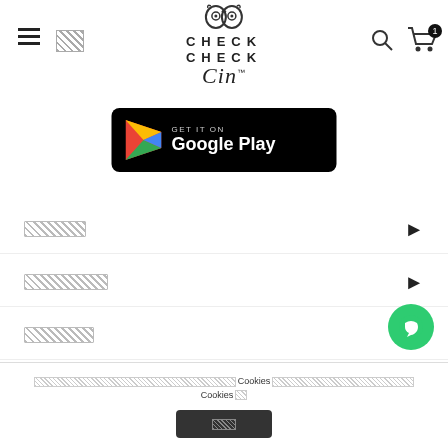CHECK CHECK Cin™ logo with hamburger menu, search and cart icons
[Figure (logo): Check Check Cin app logo with owl icon]
[Figure (screenshot): GET IT ON Google Play button]
[redacted menu item 1]
[redacted menu item 2]
[redacted menu item 3]
[redacted text] Cookies [redacted text] Cookies [redacted]
[redacted button text]